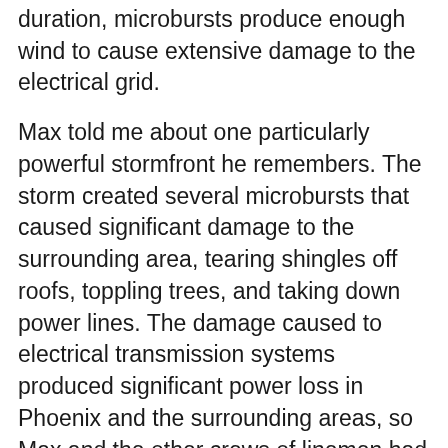duration, microbursts produce enough wind to cause extensive damage to the electrical grid.
Max told me about one particularly powerful stormfront he remembers. The storm created several microbursts that caused significant damage to the surrounding area, tearing shingles off roofs, toppling trees, and taking down power lines. The damage caused to electrical transmission systems produced significant power loss in Phoenix and the surrounding areas, so Max and the other crews of linemen had a huge task on their hands to restore power to full capacity in the area.
One of the first tasks they had to tackle was to construct temporary Lindsey towers. These towers can be